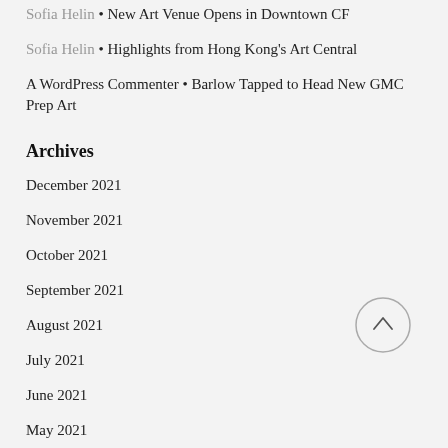Sofia Helin • New Art Venue Opens in Downtown CF
Sofia Helin • Highlights from Hong Kong's Art Central
A WordPress Commenter • Barlow Tapped to Head New GMC Prep Art
Archives
December 2021
November 2021
October 2021
September 2021
August 2021
July 2021
June 2021
May 2021